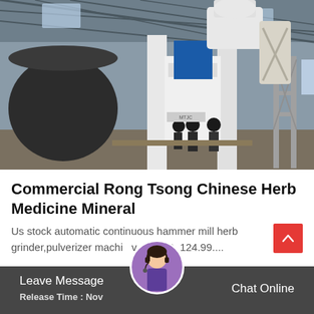[Figure (photo): Industrial factory interior showing large white grinding/milling machinery with workers operating equipment. A large black cylindrical vessel is visible on the left. The facility has a metal roof with skylights.]
Commercial Rong Tsong Chinese Herb Medicine Mineral
Us stock automatic continuous hammer mill herb grinder,pulverizer machi  v. 114.99. 124.99....
Leave Message   Chat Online   Release Time : Nov